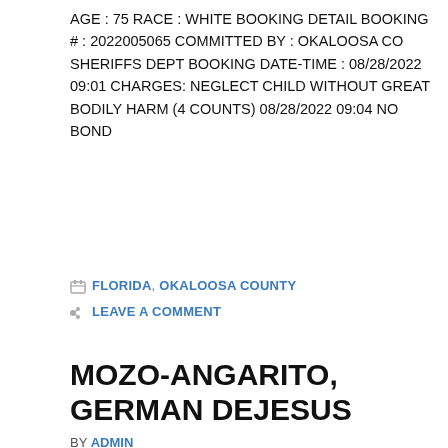AGE : 75 RACE : WHITE BOOKING DETAIL BOOKING # : 2022005065 COMMITTED BY : OKALOOSA CO SHERIFFS DEPT BOOKING DATE-TIME : 08/28/2022 09:01 CHARGES: NEGLECT CHILD WITHOUT GREAT BODILY HARM (4 COUNTS) 08/28/2022 09:04 NO BOND
FLORIDA, OKALOOSA COUNTY
LEAVE A COMMENT
MOZO-ANGARITO, GERMAN DEJESUS
BY ADMIN
[Figure (photo): Booking photo placeholder showing a gray silhouette of a person's head and shoulders against a white background with a border.]